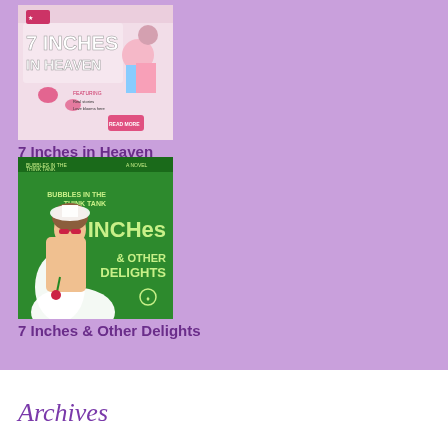[Figure (illustration): Book cover for '7 Inches in Heaven' with cartoon characters and hearts on a light background]
7 Inches in Heaven
[Figure (illustration): Book cover for '7 Inches & Other Delights' showing a woman in white on a green background with stylized text]
7 Inches & Other Delights
Archives